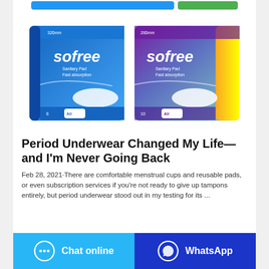[Figure (photo): Two boxes of Sofree Sanitary Pad Fast Absorption products — one blue box (320mm, 8 pads, Day/Air) and one purple/yellow box (280mm, 10 pads, Air).]
Period Underwear Changed My Life—and I'm Never Going Back
Feb 28, 2021·There are comfortable menstrual cups and reusable pads, or even subscription services if you're not ready to give up tampons entirely, but period underwear stood out in my testing for its ...